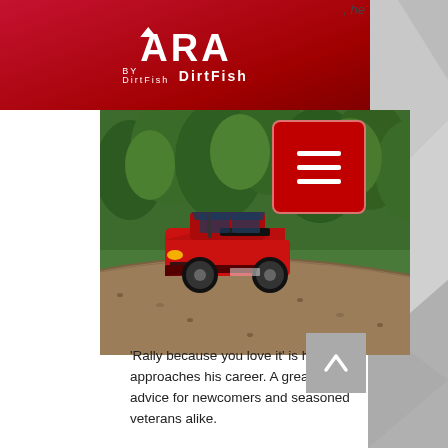, he
[Figure (logo): ARA DirtFish logo on red header background with hamburger menu button]
[Figure (photo): Red rally car (Subaru WRX STI) on a dirt/gravel road surrounded by green forest trees]
'Rally because you love it' is how he approaches his career. A great bit of advice for newcomers and seasoned veterans alike.